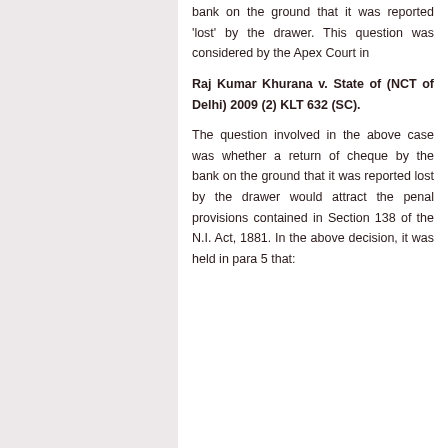bank on the ground that it was reported 'lost' by the drawer. This question was considered by the Apex Court in
Raj Kumar Khurana v. State of (NCT of Delhi) 2009 (2) KLT 632 (SC).
The question involved in the above case was whether a return of cheque by the bank on the ground that it was reported lost by the drawer would attract the penal provisions contained in Section 138 of the N.I. Act, 1881. In the above decision, it was held in para 5 that: